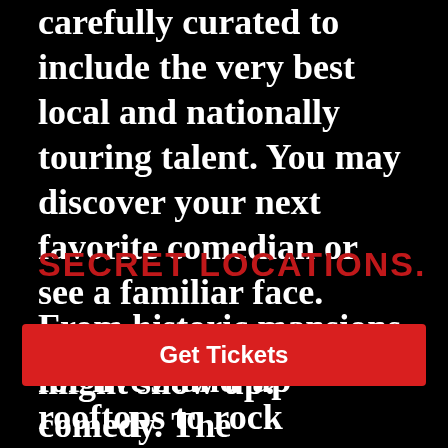carefully curated to include the very best local and nationally touring talent. You may discover your next favorite comedian or see a familiar face. You'll never know who might show up!
SECRET LOCATIONS.
From historic mansions to candy stores, rooftops to rock climbing gyms, we transform just about any
for live stand-up comedy. The